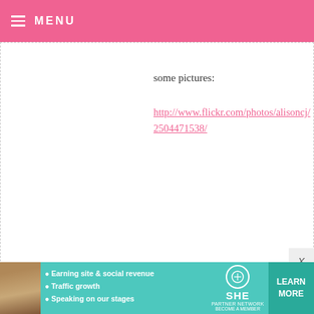MENU
some pictures:
http://www.flickr.com/photos/alisoncj/2504471538/
BAKERELLA — MAY 17, 2008 @ 4:08 AM
Sarah – cream cheese frosting tastes like heaven. Fondant isn't necessarily gross. But you're not gonna jump up and down over it.
[Figure (other): SHE Partner Network advertisement banner with woman photo, bullet points: Earning site & social revenue, Traffic growth, Speaking on our stages, Learn More button]